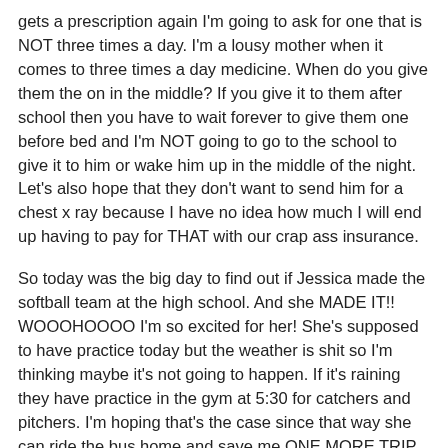gets a prescription again I'm going to ask for one that is NOT three times a day. I'm a lousy mother when it comes to three times a day medicine. When do you give them the on in the middle? If you give it to them after school then you have to wait forever to give them one before bed and I'm NOT going to go to the school to give it to him or wake him up in the middle of the night. Let's also hope that they don't want to send him for a chest x ray because I have no idea how much I will end up having to pay for THAT with our crap ass insurance.
So today was the big day to find out if Jessica made the softball team at the high school. And she MADE IT!! WOOOHOOOO I'm so excited for her! She's supposed to have practice today but the weather is shit so I'm thinking maybe it's not going to happen. If it's raining they have practice in the gym at 5:30 for catchers and pitchers. I'm hoping that's the case since that way she can ride the bus home and save me ONE MORE TRIP to town.
Melissa has GATE today after school too. I called her friend's grandma and asked if they could give her a ride home. &&&